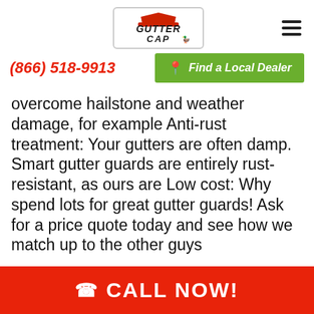[Figure (logo): Gutter Cap logo with hat graphic]
(866) 518-9913
Find a Local Dealer
overcome hailstone and weather damage, for example Anti-rust treatment: Your gutters are often damp. Smart gutter guards are entirely rust-resistant, as ours are Low cost: Why spend lots for great gutter guards! Ask for a price quote today and see how we match up to the other guys
CALL NOW!